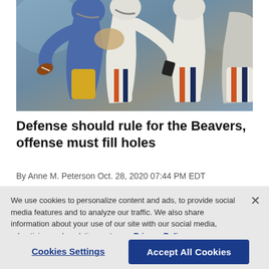[Figure (photo): Football players tackling during a game, one player in blue UCLA uniform carrying the ball being tackled by players in white and orange uniforms]
Defense should rule for the Beavers, offense must fill holes
By Anne M. Peterson Oct. 28, 2020 07:44 PM EDT
We use cookies to personalize content and ads, to provide social media features and to analyze our traffic. We also share information about your use of our site with our social media, advertising and analytics partners.  Privacy Policy
Cookies Settings
Accept All Cookies